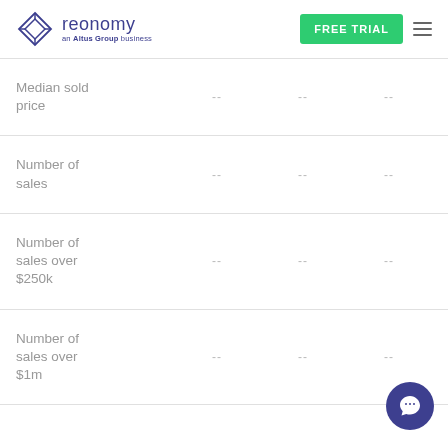[Figure (logo): Reonomy logo — diamond/cube icon in blue outline, text 'reonomy an Altus Group business' in navy blue]
|  |  |  |  |
| --- | --- | --- | --- |
| Median sold price | -- | -- | -- |
| Number of sales | -- | -- | -- |
| Number of sales over $250k | -- | -- | -- |
| Number of sales over $1m | -- | -- | -- |